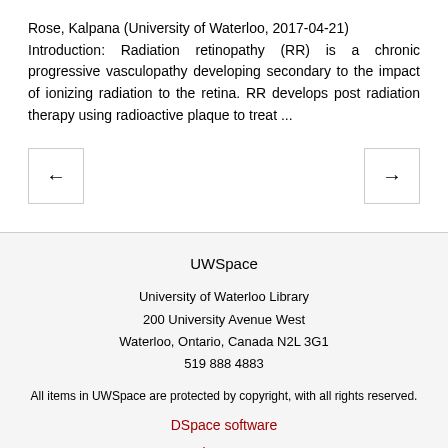Rose, Kalpana (University of Waterloo, 2017-04-21)
Introduction: Radiation retinopathy (RR) is a chronic progressive vasculopathy developing secondary to the impact of ionizing radiation to the retina. RR develops post radiation therapy using radioactive plaque to treat ...
[Figure (other): Navigation buttons: left arrow button on the left, right arrow button on the right]
UWSpace
University of Waterloo Library
200 University Avenue West
Waterloo, Ontario, Canada N2L 3G1
519 888 4883
All items in UWSpace are protected by copyright, with all rights reserved.
DSpace software
Service outages